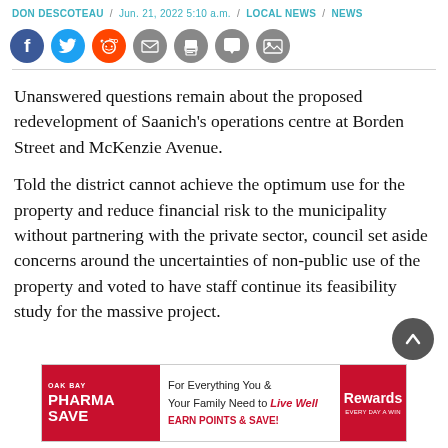DON DESCOTEAU / Jun. 21, 2022 5:10 a.m. / LOCAL NEWS / NEWS
[Figure (infographic): Social sharing icons: Facebook (blue), Twitter (light blue), Reddit (orange), Email (grey), Print (grey), Comment (grey), Gallery (grey)]
Unanswered questions remain about the proposed redevelopment of Saanich's operations centre at Borden Street and McKenzie Avenue.
Told the district cannot achieve the optimum use for the property and reduce financial risk to the municipality without partnering with the private sector, council set aside concerns around the uncertainties of non-public use of the property and voted to have staff continue its feasibility study for the massive project.
[Figure (other): Oak Bay Pharmasave advertisement: 'For Everything You & Your Family Need to Live Well. EARN POINTS & SAVE! Rewards']